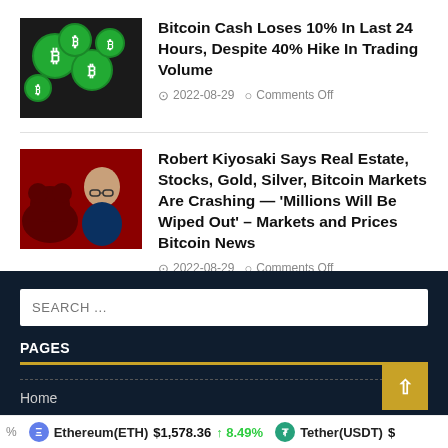[Figure (photo): Green Bitcoin coins on dark background]
Bitcoin Cash Loses 10% In Last 24 Hours, Despite 40% Hike In Trading Volume
2022-08-29   Comments Off
[Figure (photo): Robert Kiyosaki portrait with bear market background]
Robert Kiyosaki Says Real Estate, Stocks, Gold, Silver, Bitcoin Markets Are Crashing — 'Millions Will Be Wiped Out' – Markets and Prices Bitcoin News
2022-08-29   Comments Off
SEARCH ...
PAGES
Home
Ethereum(ETH) $1,578.36 ↑ 8.49%   Tether(USDT) $